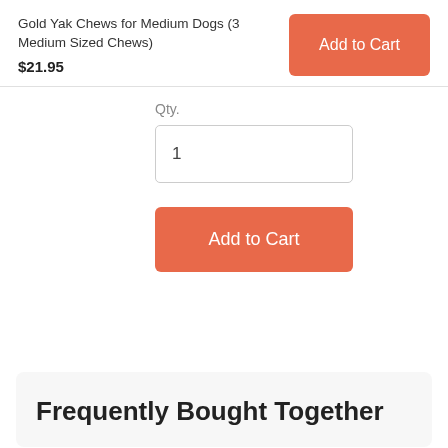Gold Yak Chews for Medium Dogs (3 Medium Sized Chews)
$21.95
Add to Cart
Qty.
1
Add to Cart
Frequently Bought Together